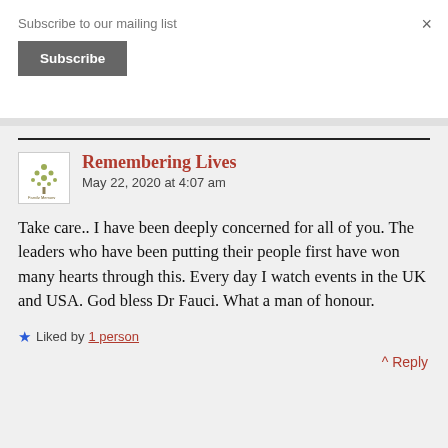Subscribe to our mailing list
Subscribe
×
Remembering Lives
May 22, 2020 at 4:07 am
Take care.. I have been deeply concerned for all of you. The leaders who have been putting their people first have won many hearts through this. Every day I watch events in the UK and USA. God bless Dr Fauci. What a man of honour.
★ Liked by 1 person
^ Reply